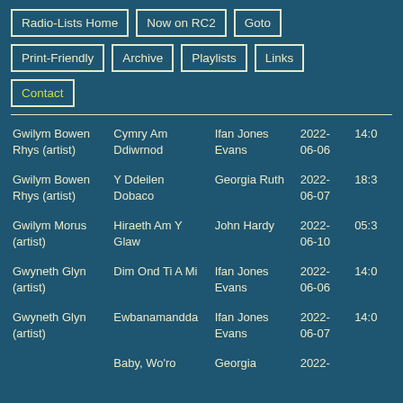Radio-Lists Home
Now on RC2
Goto
Print-Friendly
Archive
Playlists
Links
Contact
| Artist | Track | Show | Date | Time |
| --- | --- | --- | --- | --- |
| Gwilym Bowen Rhys (artist) | Cymry Am Ddiwrnod | Ifan Jones Evans | 2022-06-06 | 14:0 |
| Gwilym Bowen Rhys (artist) | Y Ddeilen Dobaco | Georgia Ruth | 2022-06-07 | 18:3 |
| Gwilym Morus (artist) | Hiraeth Am Y Glaw | John Hardy | 2022-06-10 | 05:3 |
| Gwyneth Glyn (artist) | Dim Ond Ti A Mi | Ifan Jones Evans | 2022-06-06 | 14:0 |
| Gwyneth Glyn (artist) | Ewbanamandda | Ifan Jones Evans | 2022-06-07 | 14:0 |
|  | Baby, Wo'ro | Georgia | 2022- |  |